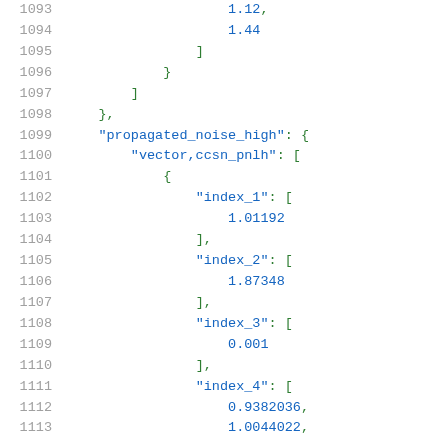Code listing lines 1093-1113 showing JSON structure with propagated_noise_high, vector,ccsn_pnlh, index_1 through index_4 keys and numeric values